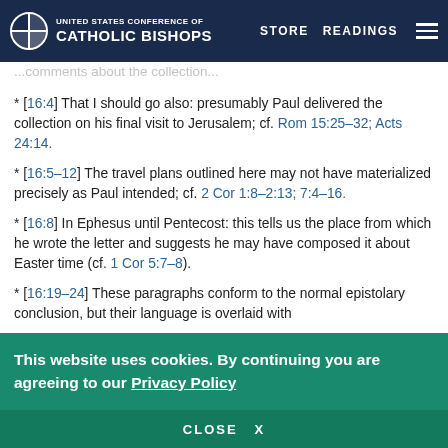United States Conference of Catholic Bishops — STORE  READINGS
* [16:4] That I should go also: presumably Paul delivered the collection on his final visit to Jerusalem; cf. Rom 15:25–32; Acts 24:14.
* [16:5–12] The travel plans outlined here may not have materialized precisely as Paul intended; cf. 2 Cor 1:8–2:13; 7:4–16.
* [16:8] In Ephesus until Pentecost: this tells us the place from which he wrote the letter and suggests he may have composed it about Easter time (cf. 1 Cor 5:7–8).
* [16:19–24] These paragraphs conform to the normal epistolary conclusion, but their language is overlaid with
This website uses cookies. By continuing you are agreeing to our Privacy Policy
CLOSE  X